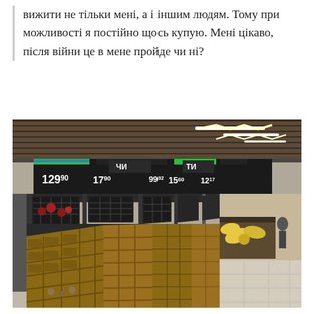вижити не тільки мені, а і іншим людям. Тому при можливості я постійно щось купую. Мені цікаво, після війни це в мене пройде чи ні?
[Figure (photo): Interior of a supermarket produce section with mostly empty wooden and metal crates/baskets on display shelves. Price tags visible overhead (129.90, 17.90, 99.92, 15.60). Modern ceiling with linear LED lighting. Some fruit visible in background.]